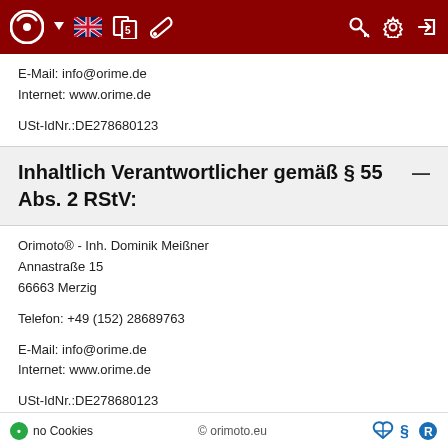[Figure (screenshot): Red navigation bar with logo, language selector, icons on the right]
E-Mail: info@orime.de
Internet: www.orime.de

USt-IdNr.:DE278680123
Inhaltlich Verantwortlicher gemäß § 55 Abs. 2 RStV:
Orimoto® - Inh. Dominik Meißner
Annastraße 15
66663 Merzig

Telefon: +49 (152) 28689763

E-Mail: info@orime.de
Internet: www.orime.de

USt-IdNr.:DE278680123
Bildnachweise:
no Cookies   © orimoto.eu